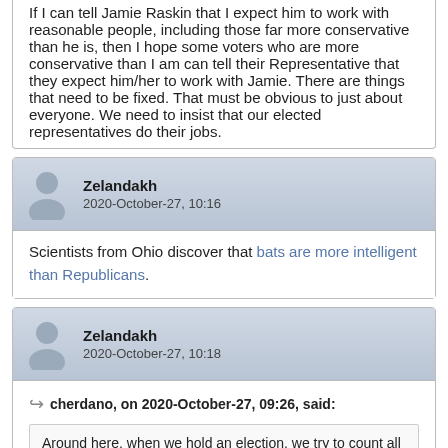If I can tell Jamie Raskin that I expect him to work with reasonable people, including those far more conservative than he is, then I hope some voters who are more conservative than I am can tell their Representative that they expect him/her to work with Jamie. There are things that need to be fixed. That must be obvious to just about everyone. We need to insist that our elected representatives do their jobs.
Zelandakh
2020-October-27, 10:16
Scientists from Ohio discover that bats are more intelligent than Republicans.
Zelandakh
2020-October-27, 10:18
cherdano, on 2020-October-27, 09:26, said:
Around here, when we hold an election, we try to count all the votes. I guess you guys in the States have other priorities.